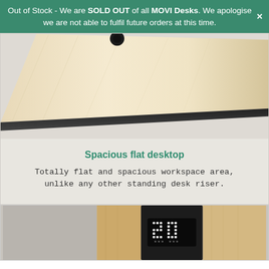Out of Stock - We are SOLD OUT of all MOVI Desks. We apologise we are not able to fulfil future orders at this time.
[Figure (photo): Close-up photo of a wooden desk surface (light bamboo/maple finish with black edge) on a light grey background]
Spacious flat desktop
Totally flat and spacious workspace area, unlike any other standing desk riser.
[Figure (photo): Partial photo showing a black electronic display unit showing '20' in LED dot-matrix digits, flanked by light wood panels on a grey background]